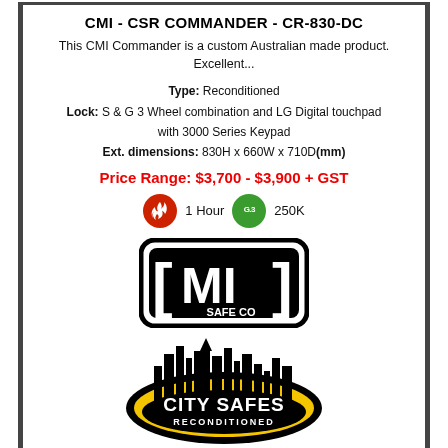CMI - CSR COMMANDER - CR-830-DC
This CMI Commander is a custom Australian made product. Excellent...
Type: Reconditioned
Lock: S & G 3 Wheel combination and LG Digital touchpad with 3000 Series Keypad
Ext. dimensions: 830H x 660W x 710D(mm)
Price Range: $3,700 - $3,900 + GST
[Figure (infographic): Red fire badge icon labeled 1 Hour, and green badge labeled 250K]
[Figure (logo): CMI Safe Co logo - black square with rounded corners containing CMI text and SAFE CO]
[Figure (logo): City Safes Reconditioned logo - black and yellow oval with city skyline silhouette]